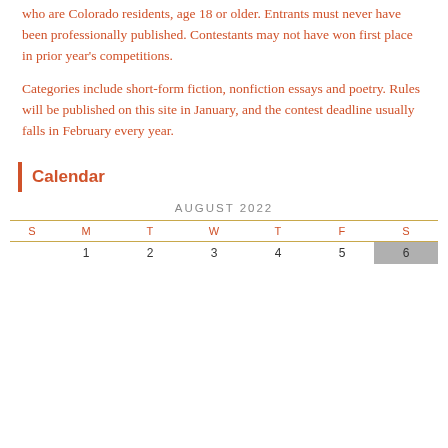who are Colorado residents, age 18 or older. Entrants must never have been professionally published. Contestants may not have won first place in prior year's competitions.
Categories include short-form fiction, nonfiction essays and poetry. Rules will be published on this site in January, and the contest deadline usually falls in February every year.
Calendar
| S | M | T | W | T | F | S |
| --- | --- | --- | --- | --- | --- | --- |
|  | 1 | 2 | 3 | 4 | 5 | 6 |